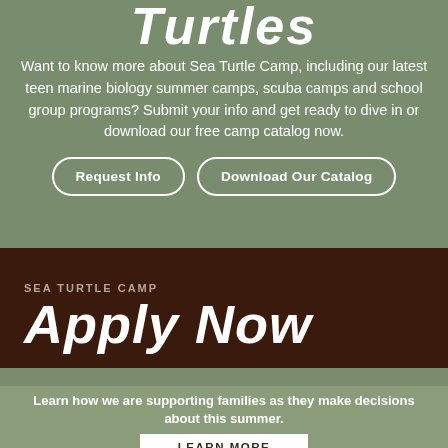Turtles
Want to know more about Sea Turtle Camp, including our latest teen marine biology summer camps, scuba camps and school group programs? Submit your info and get ready to dive in or download our free camp catalog now.
Request Info | Download Our Catalog
SEA TURTLE CAMP
Apply Now
Learn how we are supporting families as they make decisions about this summer.
LEARN MORE